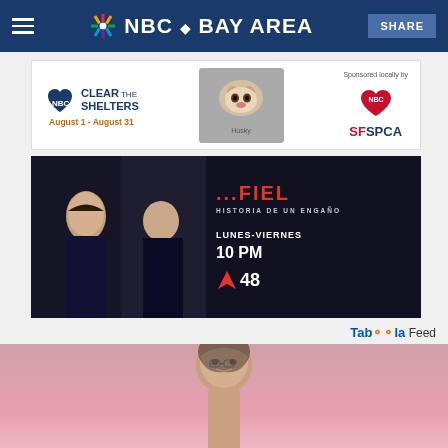NBC Bay Area
[Figure (advertisement): Clear the Shelters ad banner with husky dog photo and SF SPCA sponsor logo. August 1 - August 31]
[Figure (advertisement): Telemundo 48 ad - 'HISTORIA DE UN ENGANO' telenovela. LUNES-VIERNES 10 PM on T48. Dark background with two actors.]
Taboola Feed
[Figure (photo): Woman with hair up, pink background in lower portion of page - Taboola feed content photo]